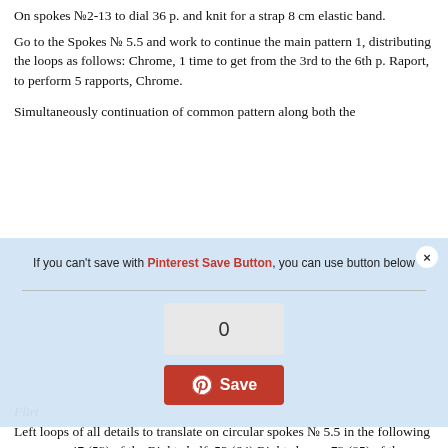On spokes №2-13 to dial 36 p. and knit for a strap 8 cm elastic band.
Go to the Spokes № 5.5 and work to continue the main pattern 1, distributing the loops as follows: Chrome, 1 time to get from the 3rd to the 6th p. Raport, to perform 5 rapports, Chrome.
Simultaneously continuation of common pattern along both the...
[Figure (screenshot): A Pinterest save dialog overlay on a light blue background. It reads: 'If you can't save with Pinterest Save Button, you can use button below'. A horizontal divider is below. Then a counter box showing '0' and a red Save button with Pinterest logo icon.]
Flirt
Left loops of all details to translate on circular spokes № 5.5 in the following sequence: 47 (53) of the Right shelf, 52 (64) Right sleeve, 73 (85) of the Backrest, 52 (64) of the left sleeve, 47 (53) p. Left shelf = Total 271 (319) p.
Knit the main pattern 2, while in the 1st P. Krom. Loops of neighboring details to touch together facial and further their tying as patent loops = on the spokes of 267 (315) p. In the 9th p. From the beginning of the yoke on both sides of the marks to perform the Ubavki for the yoke, as described above = on the Spokes 243 (291) p. These Ubavki perform in every 8th P. In the same place...